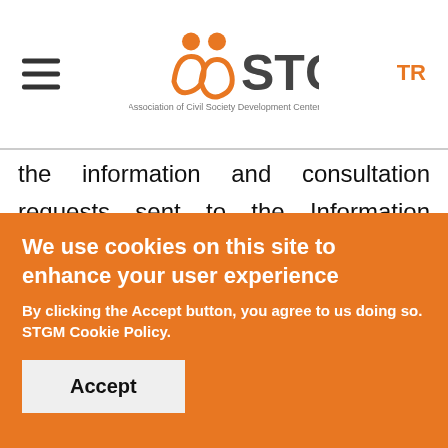STGM — Association of Civil Society Development Center
the information and consultation requests sent to the Information Center and pays the utmost attention during the preparation of these opinions and advices. Enquirers are responsible for the consequences that arise or may arise in line with the support, and STGM and its employees do not accept any responsibility for the
We use cookies on this site to enhance your user experience
By clicking the Accept button, you agree to us doing so. STGM Cookie Policy.